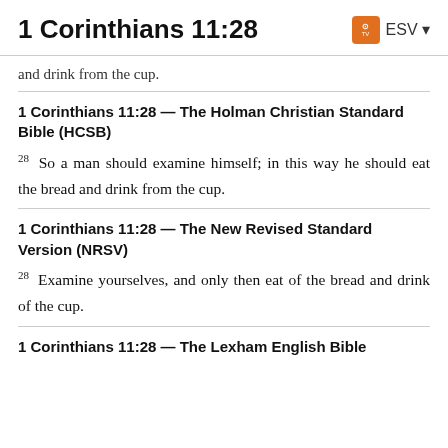1 Corinthians 11:28
and drink from the cup.
1 Corinthians 11:28 — The Holman Christian Standard Bible (HCSB)
28 So a man should examine himself; in this way he should eat the bread and drink from the cup.
1 Corinthians 11:28 — The New Revised Standard Version (NRSV)
28 Examine yourselves, and only then eat of the bread and drink of the cup.
1 Corinthians 11:28 — The Lexham English Bible